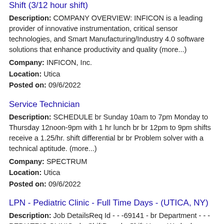Shift (3/12 hour shift)
Description: COMPANY OVERVIEW: INFICON is a leading provider of innovative instrumentation, critical sensor technologies, and Smart Manufacturing/Industry 4.0 software solutions that enhance productivity and quality (more...)
Company: INFICON, Inc.
Location: Utica
Posted on: 09/6/2022
Service Technician
Description: SCHEDULE br Sunday 10am to 7pm Monday to Thursday 12noon-9pm with 1 hr lunch br br 12pm to 9pm shifts receive a 1.25/hr. shift differential br br Problem solver with a technical aptitude. (more...)
Company: SPECTRUM
Location: Utica
Posted on: 09/6/2022
LPN - Pediatric Clinic - Full Time Days - (UTICA, NY)
Description: Job DetailsReq Id - - -69141 - br Department - - - PEDIATRIC CLINIC - br ShiftDays br Shift Hours Worked - -8.00 - br FTE1.066667 br Work Schedule br Employee StatusA1 - Full-Time br Union (more...)
Company: Mohawk Valley Health System